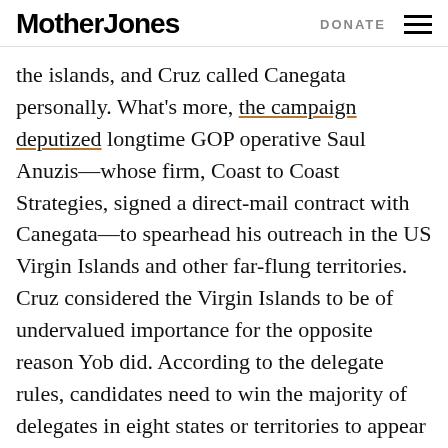Mother Jones   DONATE
the islands, and Cruz called Canegata personally. What's more, the campaign deputized longtime GOP operative Saul Anuzis—whose firm, Coast to Coast Strategies, signed a direct-mail contract with Canegata—to spearhead his outreach in the US Virgin Islands and other far-flung territories. Cruz considered the Virgin Islands to be of undervalued importance for the opposite reason Yob did. According to the delegate rules, candidates need to win the majority of delegates in eight states or territories to appear on the ballot in Cleveland. The easiest way to hit that threshold in a crowded race, the Cruz campaign reasoned, was to score wins in tiny, off-the-beaten-path caucuses such as the one